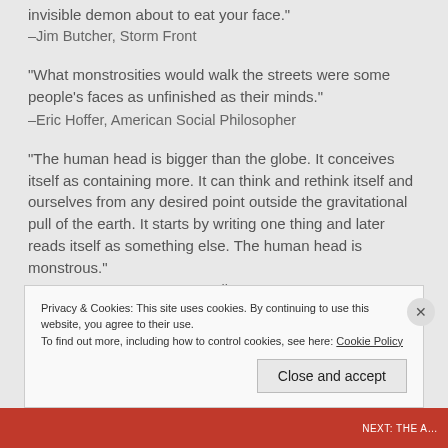“Just because you’ve paranoid doesn’t mean there isn’t an invisible demon about to eat your face.”
–Jim Butcher, Storm Front
“What monstrosities would walk the streets were some people’s faces as unfinished as their minds.”
–Eric Hoffer, American Social Philosopher
“The human head is bigger than the globe. It conceives itself as containing more. It can think and rethink itself and ourselves from any desired point outside the gravitational pull of the earth. It starts by writing one thing and later reads itself as something else. The human head is monstrous.”
–Günter Grass, German Novelist
Privacy & Cookies: This site uses cookies. By continuing to use this website, you agree to their use.
To find out more, including how to control cookies, see here: Cookie Policy
Close and accept